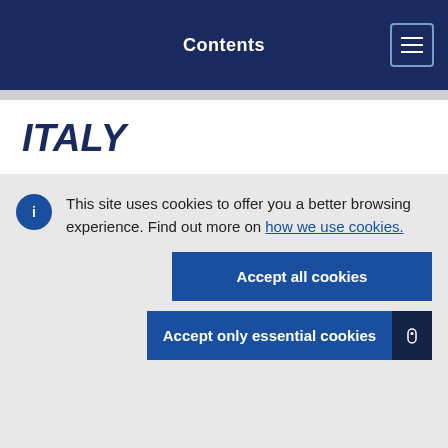Contents
ITALY
This site uses cookies to offer you a better browsing experience. Find out more on how we use cookies.
Accept all cookies
Accept only essential cookies